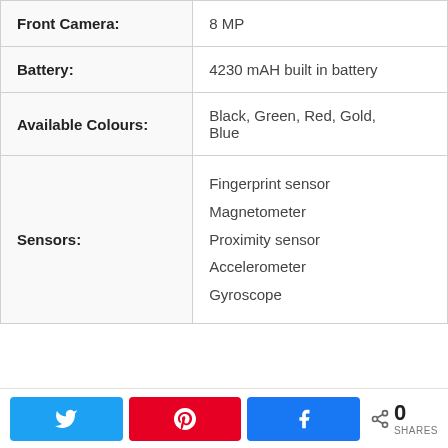| Feature | Value |
| --- | --- |
| Front Camera: | 8 MP |
| Battery: | 4230 mAH built in battery |
| Available Colours: | Black, Green, Red, Gold, Blue |
| Sensors: | Fingerprint sensor
Magnetometer
Proximity sensor
Accelerometer
Gyroscope |
[Figure (other): Social share buttons bar with Twitter (blue), Pinterest (red), Facebook (blue) buttons, and a share count showing 0 SHARES]